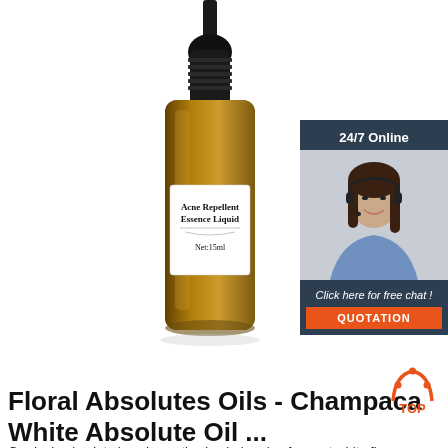[Figure (photo): An amber glass dropper bottle labeled 'Acne Repellent Essence Liquid, Net:15ml' on a white background, product photo.]
[Figure (photo): Customer service chat widget with '24/7 Online' header, a smiling woman with headset, 'Click here for free chat!' text and an orange QUOTATION button, on dark navy background.]
Floral Absolutes Oils - Champaca White Absolute Oil ...
Gardenia absolute is a decorative bush, bearing fragrant white flowers having sweet, floral, rich, exquisite scent. This expensive, rich, warm and heady floral oil is produced by
[Figure (logo): TOP logo — orange triangular arch/house shape with dots, with text TOP in orange.]